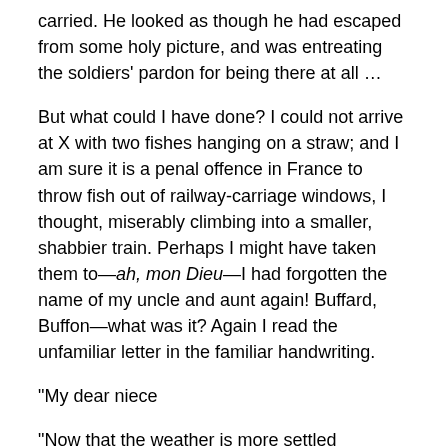carried. He looked as though he had escaped from some holy picture, and was entreating the soldiers' pardon for being there at all …
But what could I have done? I could not arrive at X with two fishes hanging on a straw; and I am sure it is a penal offence in France to throw fish out of railway-carriage windows, I thought, miserably climbing into a smaller, shabbier train. Perhaps I might have taken them to—ah, mon Dieu—I had forgotten the name of my uncle and aunt again! Buffard, Buffon—what was it? Again I read the unfamiliar letter in the familiar handwriting.
“My dear niece
“Now that the weather is more settled